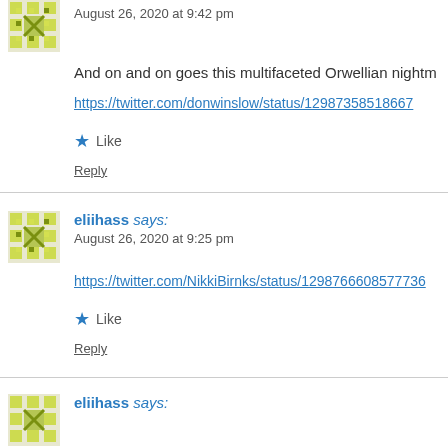August 26, 2020 at 9:42 pm
And on and on goes this multifaceted Orwellian nightm…
https://twitter.com/donwinslow/status/129873585186677…
Like
Reply
eliihass says:
August 26, 2020 at 9:25 pm
https://twitter.com/NikkiBirnks/status/129876660857736…
Like
Reply
eliihass says: